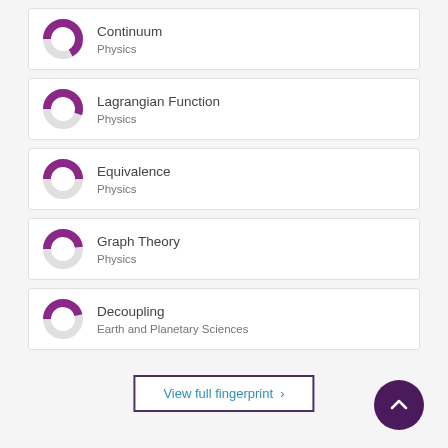Continuum
Physics
Lagrangian Function
Physics
Equivalence
Physics
Graph Theory
Physics
Decoupling
Earth and Planetary Sciences
View full fingerprint >